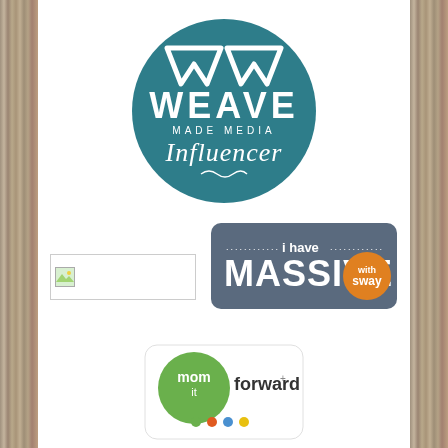[Figure (logo): Weave Made Media Influencer circular logo — teal circle with white geometric W crown icon, text WEAVE MADE MEDIA INFLUENCER in white]
[Figure (logo): i have MASSIVE sway badge — dark slate-blue rounded rectangle with dotted border text 'i have' and large bold MASSIVE with orange sway circle]
[Figure (logo): Broken/missing image placeholder rectangle with small green icon]
[Figure (logo): mom it forward logo — green circle with white text 'mom it forward+' and colorful dots below]